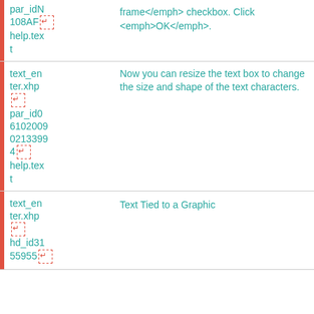| ID/Source | Content |
| --- | --- |
| par_idN108AF [icon] help.text | frame</emph> checkbox. Click <emph>OK</emph>. |
| text_enter.xhp [icon] par_id061020090213399 4[icon] help.text | Now you can resize the text box to change the size and shape of the text characters. |
| text_enter.xhp [icon] hd_id3155955[icon] | Text Tied to a Graphic |